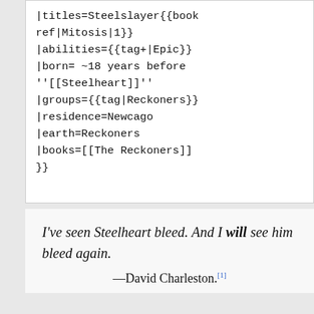|titles=Steelslayer{{book ref|Mitosis|1}}
|abilities={{tag+|Epic}}
|born= ~18 years before ''[[Steelheart]}''
|groups={{tag|Reckoners}}
|residence=Newcago
|earth=Reckoners
|books=[[The Reckoners]]
}}
I've seen Steelheart bleed. And I will see him bleed again.
—David Charleston.[1]